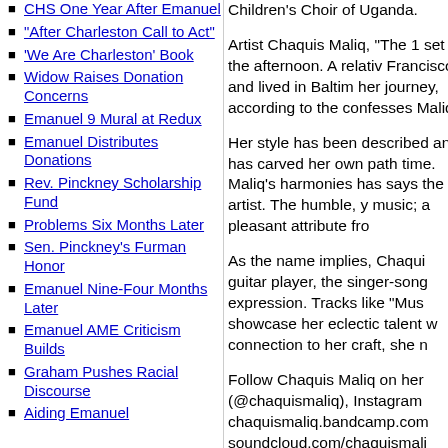CHS One Year After Emanuel
"After Charleston Call to Act"
'We Are Charleston' Book
Widow Raises Donation Concerns
Emanuel 9 Mural at Redux
Emanuel Distributes Donations
Rev. Pinckney Scholarship Fund
Problems Six Months Later
Sen. Pinckney's Furman Honor
Emanuel Nine-Four Months Later
Emanuel AME Criticism Builds
Graham Pushes Racial Discourse
Aiding Emanuel
Children's Choir of Uganda.
Artist Chaquis Maliq, "The 1 set in the afternoon. A relative Francisco and lived in Baltimore her journey, according to the confesses Maliq.
Her style has been described and has carved her own path time. Maliq's harmonies has says the artist. The humble, y music; a pleasant attribute fro
As the name implies, Chaqu guitar player, the singer-song expression. Tracks like "Mus showcase her eclectic talent w connection to her craft, she n
Follow Chaquis Maliq on her (@chaquismaliq), Instagram chaquismaliq.bandcamp.com soundcloud.com/chaquismali